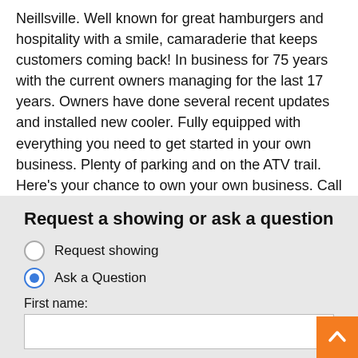Neillsville. Well known for great hamburgers and hospitality with a smile, camaraderie that keeps customers coming back! In business for 75 years with the current owners managing for the last 17 years. Owners have done several recent updates and installed new cooler. Fully equipped with everything you need to get started in your own business. Plenty of parking and on the ATV trail. Here's your chance to own your own business. Call today!
Request a showing or ask a question
Request showing
Ask a Question
First name:
Last name: